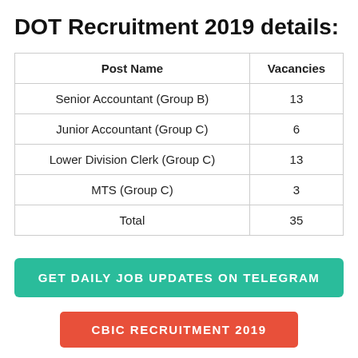DOT Recruitment 2019 details:
| Post Name | Vacancies |
| --- | --- |
| Senior Accountant (Group B) | 13 |
| Junior Accountant (Group C) | 6 |
| Lower Division Clerk (Group C) | 13 |
| MTS (Group C) | 3 |
| Total | 35 |
GET DAILY JOB UPDATES ON TELEGRAM
CBIC RECRUITMENT 2019